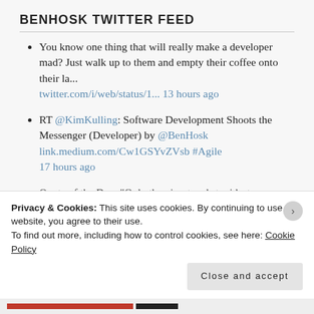BENHOSK TWITTER FEED
You know one thing that will really make a developer mad? Just walk up to them and empty their coffee onto their la... twitter.com/i/web/status/1... 13 hours ago
RT @KimKulling: Software Development Shoots the Messenger (Developer) by @BenHosk link.medium.com/Cw1GSYvZVsb #Agile 17 hours ago
Quote of the Day: "Only the nicest and stupidest...
Privacy & Cookies: This site uses cookies. By continuing to use this website, you agree to their use.
To find out more, including how to control cookies, see here: Cookie Policy
Close and accept